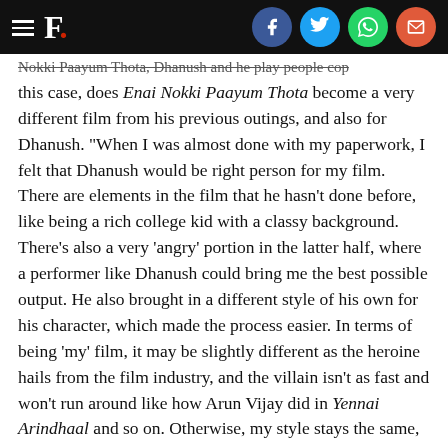F. [social share bar]
Nokki Paayum Thota, Dhanush and he play people cop this case, does Enai Nokki Paayum Thota become a very different film from his previous outings, and also for Dhanush. “When I was almost done with my paperwork, I felt that Dhanush would be right person for my film. There are elements in the film that he hasn’t done before, like being a rich college kid with a classy background. There’s also a very ‘angry’ portion in the latter half, where a performer like Dhanush could bring me the best possible output. He also brought in a different style of his own for his character, which made the process easier. In terms of being ‘my’ film, it may be slightly different as the heroine hails from the film industry, and the villain isn’t as fast and won’t run around like how Arun Vijay did in Yennai Arindhaal and so on. Otherwise, my style stays the same, especially the voiceovers, which are on the higher side here.”
One thing that has to be spoken about is the music of the film.